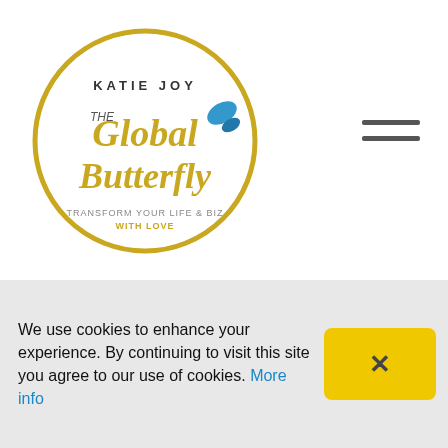[Figure (logo): Katie Joy The Global Butterfly logo — circular gold border with script text 'The Global Butterfly' and tagline 'Transform your life & biz with love', featuring a blue butterfly]
Empath
Energy
Energy Healing
Food Adventures
Food For Flavour
Goal Setting
Goals
Growth Mindset
Healing From Narcissistic Abuse
We use cookies to enhance your experience. By continuing to visit this site you agree to our use of cookies. More info